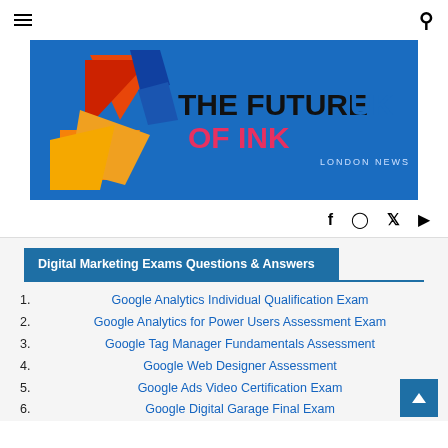[Figure (logo): The Future of Ink UK London News logo on blue background with geometric orange/red/yellow design]
Digital Marketing Exams Questions & Answers
1. Google Analytics Individual Qualification Exam
2. Google Analytics for Power Users Assessment Exam
3. Google Tag Manager Fundamentals Assessment
4. Google Web Designer Assessment
5. Google Ads Video Certification Exam
6. Google Digital Garage Final Exam